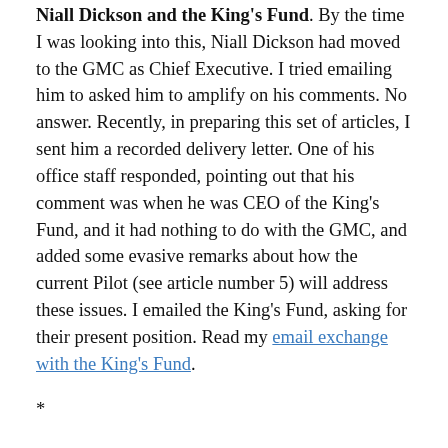Niall Dickson and the King's Fund. By the time I was looking into this, Niall Dickson had moved to the GMC as Chief Executive. I tried emailing him to asked him to amplify on his comments. No answer. Recently, in preparing this set of articles, I sent him a recorded delivery letter. One of his office staff responded, pointing out that his comment was when he was CEO of the King's Fund, and it had nothing to do with the GMC, and added some evasive remarks about how the current Pilot (see article number 5) will address these issues. I emailed the King's Fund, asking for their present position. Read my email exchange with the King's Fund.
*
'By December 2011 the opposition health spokesman, Burnham, remained fully behind abolishing practice